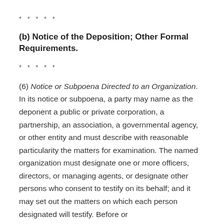* * * * *
(b) Notice of the Deposition; Other Formal Requirements.
* * * * *
(6) Notice or Subpoena Directed to an Organization. In its notice or subpoena, a party may name as the deponent a public or private corporation, a partnership, an association, a governmental agency, or other entity and must describe with reasonable particularity the matters for examination. The named organization must designate one or more officers, directors, or managing agents, or designate other persons who consent to testify on its behalf; and it may set out the matters on which each person designated will testify. Before or